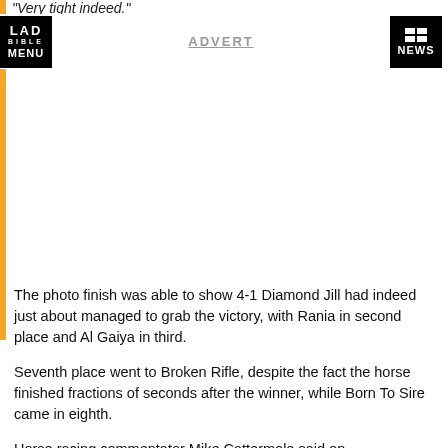"Very tight indeed."
LAD BIBLE MENU | ADVERT | NEWS
The photo finish was able to show 4-1 Diamond Jill had indeed just about managed to grab the victory, with Rania in second place and Al Gaiya in third.
Seventh place went to Broken Rifle, despite the fact the horse finished fractions of seconds after the winner, while Born To Sire came in eighth.
Horse racing commentator Mike Cattermole said on